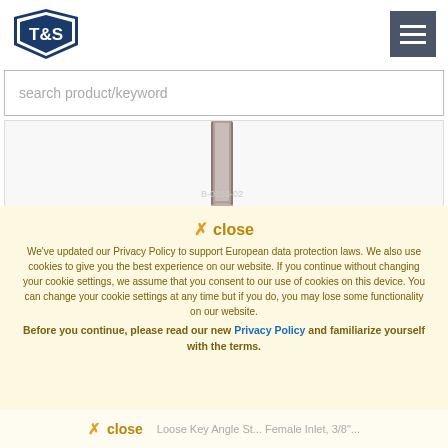[Figure (logo): T&S brass logo — shield/triangle shape with 'T&S' text in navy blue]
[Figure (screenshot): Dark gray hamburger menu button with three white horizontal lines]
search product/keyword
[Figure (photo): Partial product image showing a metallic cylindrical faucet part on white background]
✕ close
We've updated our Privacy Policy to support European data protection laws. We also use cookies to give you the best experience on our website. If you continue without changing your cookie settings, we assume that you consent to our use of cookies on this device. You can change your cookie settings at any time but if you do, you may lose some functionality on our website.
Before you continue, please read our new Privacy Policy and familiarize yourself with the terms.
✕ close
Loose Key Angle St... Female Inlet, 3/8"...